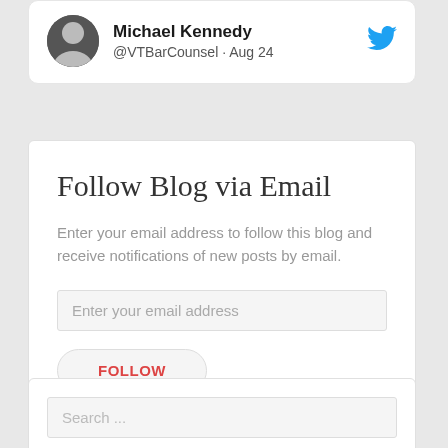[Figure (screenshot): Twitter profile card showing Michael Kennedy @VTBarCounsel Aug 24 with avatar photo and Twitter bird logo]
Follow Blog via Email
Enter your email address to follow this blog and receive notifications of new posts by email.
Enter your email address
FOLLOW
Join 1,073 other followers
Search ...